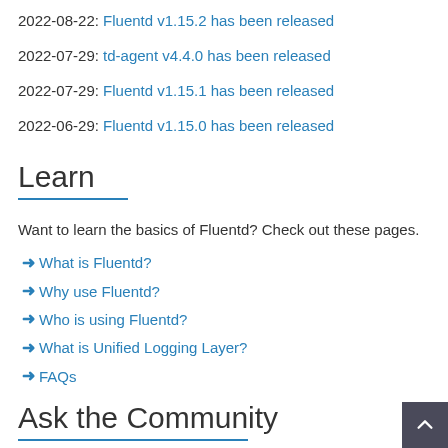2022-08-22: Fluentd v1.15.2 has been released
2022-07-29: td-agent v4.4.0 has been released
2022-07-29: Fluentd v1.15.1 has been released
2022-06-29: Fluentd v1.15.0 has been released
Learn
Want to learn the basics of Fluentd? Check out these pages.
→ What is Fluentd?
→ Why use Fluentd?
→ Who is using Fluentd?
→ What is Unified Logging Layer?
→ FAQs
Ask the Community